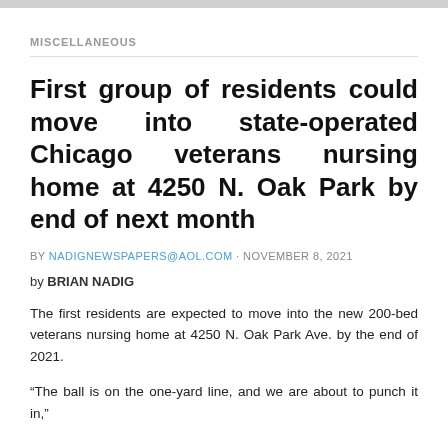MISCELLANEOUS
First group of residents could move into state-operated Chicago veterans nursing home at 4250 N. Oak Park by end of next month
BY NADIGNEWSPAPERS@AOL.COM · NOVEMBER 8, 2021
by BRIAN NADIG
The first residents are expected to move into the new 200-bed veterans nursing home at 4250 N. Oak Park Ave. by the end of 2021.
“The ball is on the one-yard line, and we are about to punch it in,”